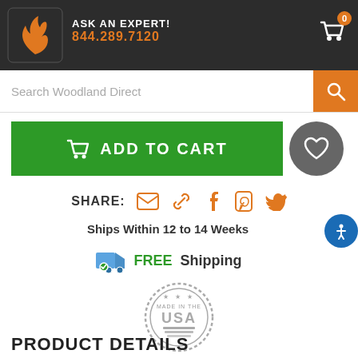ASK AN EXPERT! 844.289.7120
Search Woodland Direct
ADD TO CART
SHARE:
Ships Within 12 to 14 Weeks
FREE Shipping
[Figure (logo): Made in the USA circular badge with stars and stripes]
PRODUCT DETAILS